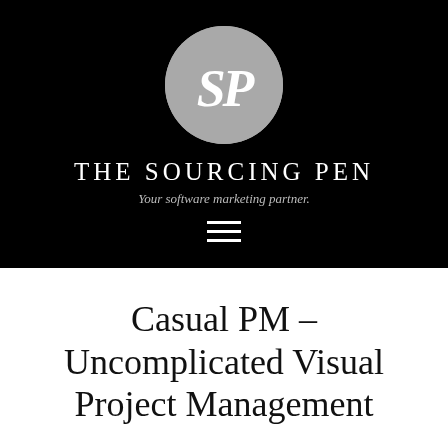[Figure (logo): The Sourcing Pen logo: grey circle with white italic SP letters]
THE SOURCING PEN
Your software marketing partner.
[Figure (other): Hamburger menu icon (three horizontal lines)]
Casual PM – Uncomplicated Visual Project Management